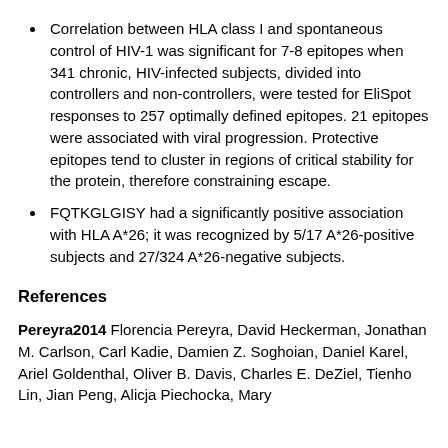Correlation between HLA class I and spontaneous control of HIV-1 was significant for 7-8 epitopes when 341 chronic, HIV-infected subjects, divided into controllers and non-controllers, were tested for EliSpot responses to 257 optimally defined epitopes. 21 epitopes were associated with viral progression. Protective epitopes tend to cluster in regions of critical stability for the protein, therefore constraining escape.
FQTKGLGISY had a significantly positive association with HLA A*26; it was recognized by 5/17 A*26-positive subjects and 27/324 A*26-negative subjects.
References
Pereyra2014 Florencia Pereyra, David Heckerman, Jonathan M. Carlson, Carl Kadie, Damien Z. Soghoian, Daniel Karel, Ariel Goldenthal, Oliver B. Davis, Charles E. DeZiel, Tienho Lin, Jian Peng, Alicja Piechocka, Mary